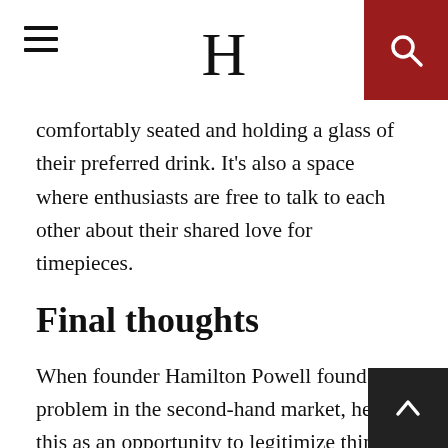H
comfortably seated and holding a glass of their preferred drink. It's also a space where enthusiasts are free to talk to each other about their shared love for timepieces.
Final thoughts
When founder Hamilton Powell found a problem in the second-hand market, he saw this as an opportunity to legitimize things. With Crown & Caliber, you get what you deserve without having to avoid unwanted elements in the first place. The whole company runs on quality and transparency, even down to its own headquarters where you can see the process up close. The exchange online shouldn't be scary. When you have a desire for a